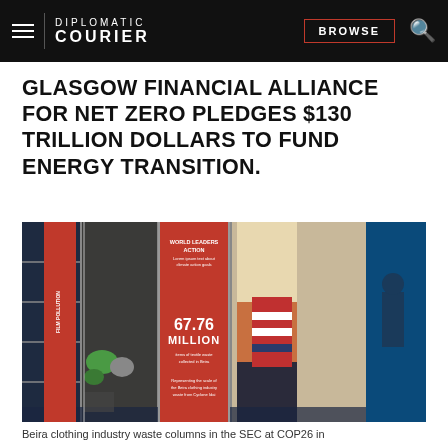DIPLOMATIC COURIER | BROWSE
GLASGOW FINANCIAL ALLIANCE FOR NET ZERO PLEDGES $130 TRILLION DOLLARS TO FUND ENERGY TRANSITION.
[Figure (photo): Beira clothing industry waste columns displayed at the SEC at COP26, showing large metal cage containers filled with clothing waste, with a prominent red banner displaying '67.76 MILLION']
Beira clothing industry waste columns in the SEC at COP26 in